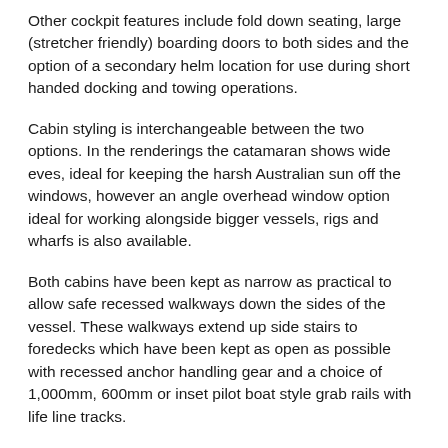Other cockpit features include fold down seating, large (stretcher friendly) boarding doors to both sides and the option of a secondary helm location for use during short handed docking and towing operations.
Cabin styling is interchangeable between the two options. In the renderings the catamaran shows wide eves, ideal for keeping the harsh Australian sun off the windows, however an angle overhead window option ideal for working alongside bigger vessels, rigs and wharfs is also available.
Both cabins have been kept as narrow as practical to allow safe recessed walkways down the sides of the vessel. These walkways extend up side stairs to foredecks which have been kept as open as possible with recessed anchor handling gear and a choice of 1,000mm, 600mm or inset pilot boat style grab rails with life line tracks.